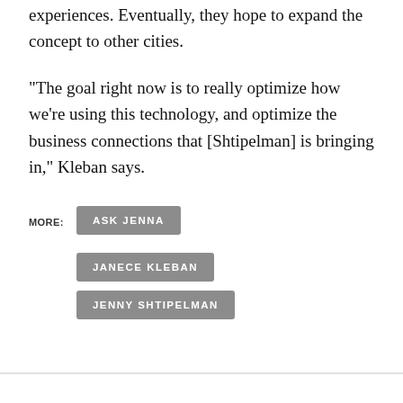experiences. Eventually, they hope to expand the concept to other cities.
“The goal right now is to really optimize how we’re using this technology, and optimize the business connections that [Shtipelman] is bringing in,” Kleban says.
MORE:
ASK JENNA
JANECE KLEBAN
JENNY SHTIPELMAN